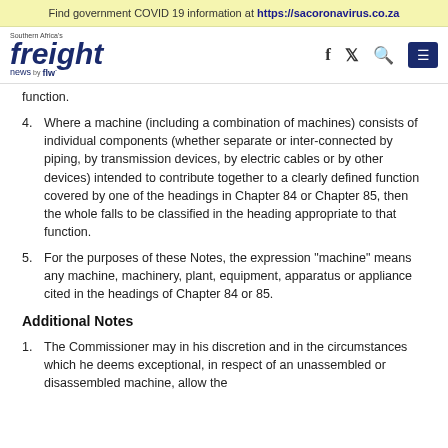Find government COVID 19 information at https://sacoronavirus.co.za
[Figure (logo): Southern Africa's Freight News by FLW logo with navigation icons (Facebook, Twitter, Search, Menu)]
function.
4. Where a machine (including a combination of machines) consists of individual components (whether separate or inter-connected by piping, by transmission devices, by electric cables or by other devices) intended to contribute together to a clearly defined function covered by one of the headings in Chapter 84 or Chapter 85, then the whole falls to be classified in the heading appropriate to that function.
5. For the purposes of these Notes, the expression "machine" means any machine, machinery, plant, equipment, apparatus or appliance cited in the headings of Chapter 84 or 85.
Additional Notes
1. The Commissioner may in his discretion and in the circumstances which he deems exceptional, in respect of an unassembled or disassembled machine, allow the